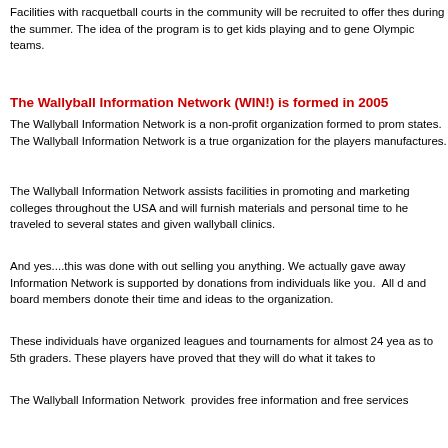Facilities with racquetball courts in the community will be recruited to offer these during the summer. The idea of the program is to get kids playing and to gene Olympic teams.
The Wallyball Information Network (WIN!) is formed in 2005
The Wallyball Information Network is a non-profit organization formed to prom states. The Wallyball Information Network is a true organization for the players manufactures.
The Wallyball Information Network assists facilities in promoting and marketing colleges throughout the USA and will furnish materials and personal time to he traveled to several states and given wallyball clinics.
And yes....this was done with out selling you anything. We actually gave away Information Network is supported by donations from individuals like you.  All d and board members donote their time and ideas to the organization.
These individuals have organized leagues and tournaments for almost 24 yea as to 5th graders. These players have proved that they will do what it takes to
The Wallyball Information Network  provides free information and free services